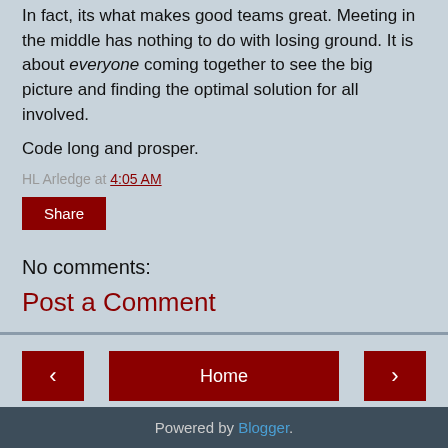In fact, its what makes good teams great. Meeting in the middle has nothing to do with losing ground. It is about everyone coming together to see the big picture and finding the optimal solution for all involved.
Code long and prosper.
HL Arledge at 4:05 AM
Share
No comments:
Post a Comment
Home
View web version
Powered by Blogger.